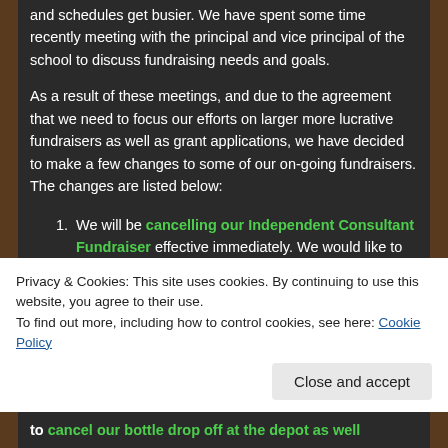and schedules get busier. We have spent some time recently meeting with the principal and vice principal of the school to discuss fundraising needs and goals.
As a result of these meetings, and due to the agreement that we need to focus our efforts on larger more lucrative fundraisers as well as grant applications, we have decided to make a few changes to some of our on-going fundraisers.  The changes are listed below:
We will be cancelling our Independent Consultant Fundraiser effective immediately. We would like to thank everyone who contacted us regarding participating in this fundraier.  We wish
Privacy & Cookies: This site uses cookies. By continuing to use this website, you agree to their use.
To find out more, including how to control cookies, see here: Cookie Policy
to cancel our bottle drop off at the depot as well